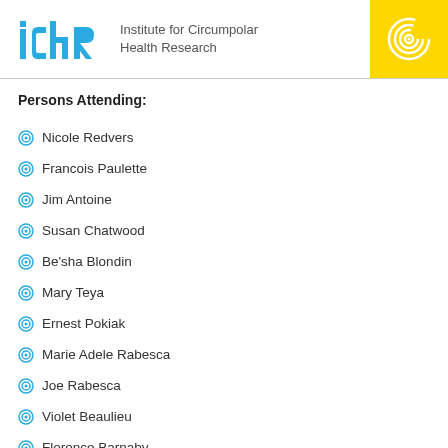Institute for Circumpolar Health Research
Persons Attending:
Nicole Redvers
Francois Paulette
Jim Antoine
Susan Chatwood
Be'sha Blondin
Mary Teya
Ernest Pokiak
Marie Adele Rabesca
Joe Rabesca
Violet Beaulieu
Florence Barnaby
Robert Sayine